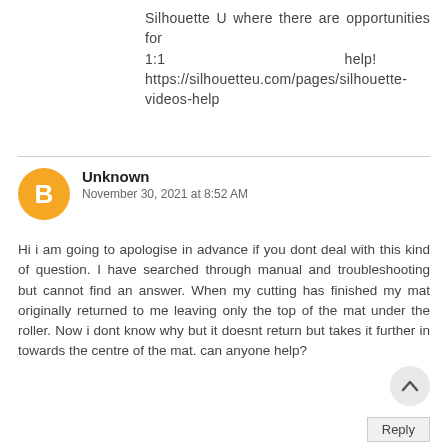Silhouette U where there are opportunities for 1:1 help! https://silhouetteu.com/pages/silhouette-videos-help
Unknown
November 30, 2021 at 8:52 AM
Hi i am going to apologise in advance if you dont deal with this kind of question. I have searched through manual and troubleshooting but cannot find an answer. When my cutting has finished my mat originally returned to me leaving only the top of the mat under the roller. Now i dont know why but it doesnt return but takes it further in towards the centre of the mat. can anyone help?